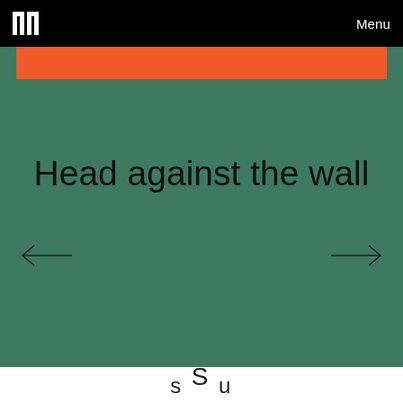Menu
[Figure (screenshot): Green banner section with headline text 'Head against the wall' and left/right navigation arrows. An orange bar appears at the top of the green area.]
Head against the wall
s S u